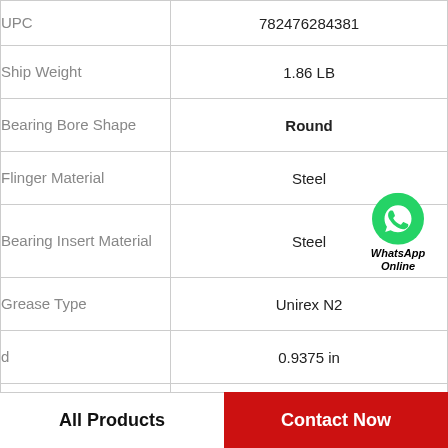| Attribute | Value |
| --- | --- |
| UPC | 782476284381 |
| Ship Weight | 1.86 LB |
| Bearing Bore Shape | Round |
| Flinger Material | Steel |
| Bearing Insert Material | Steel |
| Grease Type | Unirex N2 |
| d | 0.9375 in |
| Bearing Inner Ring Material | Steel |
[Figure (illustration): WhatsApp Online icon: green circle with white phone handset, labeled 'WhatsApp Online' in bold italic]
All Products
Contact Now